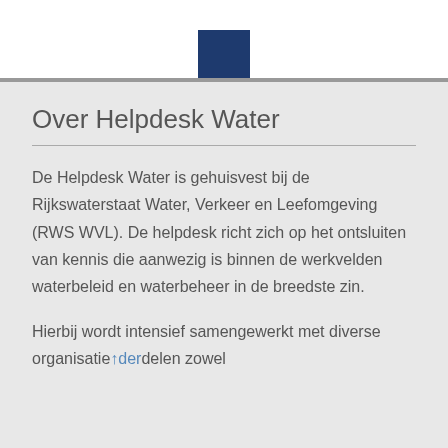Over Helpdesk Water
De Helpdesk Water is gehuisvest bij de Rijkswaterstaat Water, Verkeer en Leefomgeving (RWS WVL). De helpdesk richt zich op het ontsluiten van kennis die aanwezig is binnen de werkvelden waterbeleid en waterbeheer in de breedste zin.
Hierbij wordt intensief samengewerkt met diverse organisatieonderdelen zowel